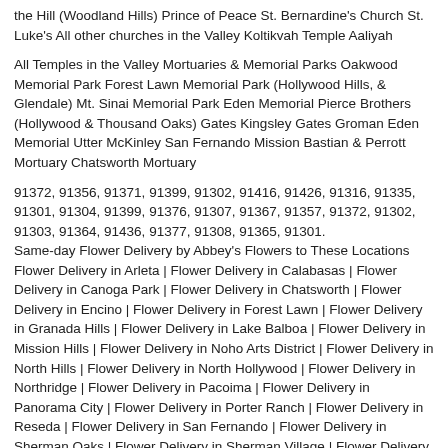the Hill (Woodland Hills) Prince of Peace St. Bernardine's Church St. Luke's All other churches in the Valley Koltikvah Temple Aaliyah
All Temples in the Valley Mortuaries & Memorial Parks Oakwood Memorial Park Forest Lawn Memorial Park (Hollywood Hills, & Glendale) Mt. Sinai Memorial Park Eden Memorial Pierce Brothers (Hollywood & Thousand Oaks) Gates Kingsley Gates Groman Eden Memorial Utter McKinley San Fernando Mission Bastian & Perrott Mortuary Chatsworth Mortuary
91372, 91356, 91371, 91399, 91302, 91416, 91426, 91316, 91335, 91301, 91304, 91399, 91376, 91307, 91367, 91357, 91372, 91302, 91303, 91364, 91436, 91377, 91308, 91365, 91301. Same-day Flower Delivery by Abbey's Flowers to These Locations Flower Delivery in Arleta | Flower Delivery in Calabasas | Flower Delivery in Canoga Park | Flower Delivery in Chatsworth | Flower Delivery in Encino | Flower Delivery in Forest Lawn | Flower Delivery in Granada Hills | Flower Delivery in Lake Balboa | Flower Delivery in Mission Hills | Flower Delivery in Noho Arts District | Flower Delivery in North Hills | Flower Delivery in North Hollywood | Flower Delivery in Northridge | Flower Delivery in Pacoima | Flower Delivery in Panorama City | Flower Delivery in Porter Ranch | Flower Delivery in Reseda | Flower Delivery in San Fernando | Flower Delivery in Sherman Oaks | Flower Delivery in Sherman Village | Flower Delivery in Studio City | | | Flower Delivery in Sylmar | Flower Delivery in Tarzana | Flower Delivery in Universal City | Flower Delivery in Valley Glen |